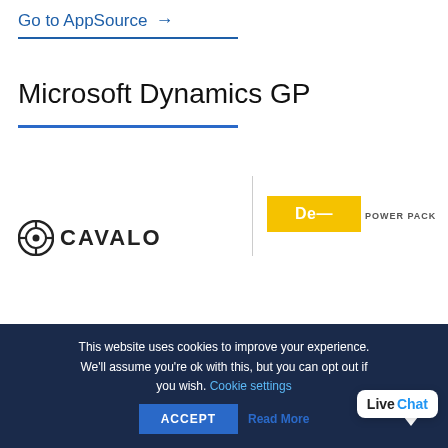Go to AppSource →
Microsoft Dynamics GP
[Figure (logo): Cavalo logo with circular icon and stylized text 'CAVALO']
[Figure (screenshot): Yellow button and POWER PACK text label on right card]
This website uses cookies to improve your experience. We'll assume you're ok with this, but you can opt out if you wish. Cookie settings ACCEPT Read More